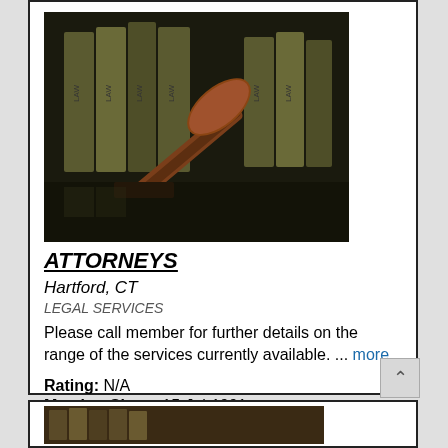[Figure (photo): Photo of law books and a wooden gavel on a dark reflective surface]
ATTORNEYS
Hartford, CT
LEGAL SERVICES
Please call member for further details on the range of the services currently available. ... more
Rating: N/A
Member Since: 15-Jul-1991
Sales: 38
[Figure (photo): Second listing photo showing law books with gavel, partially visible at bottom of page]